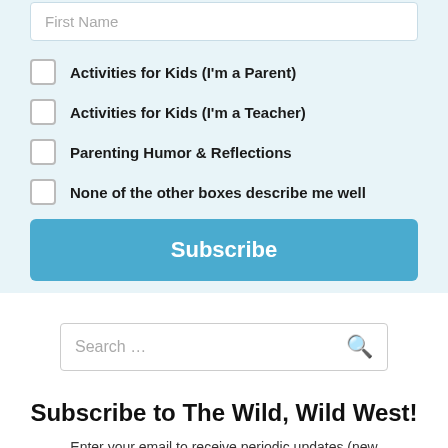First Name
Activities for Kids (I'm a Parent)
Activities for Kids (I'm a Teacher)
Parenting Humor & Reflections
None of the other boxes describe me well
Subscribe
Search ...
Subscribe to The Wild, Wild West!
Enter your email to receive periodic updates (new posts, printables, general shenanigans) & the